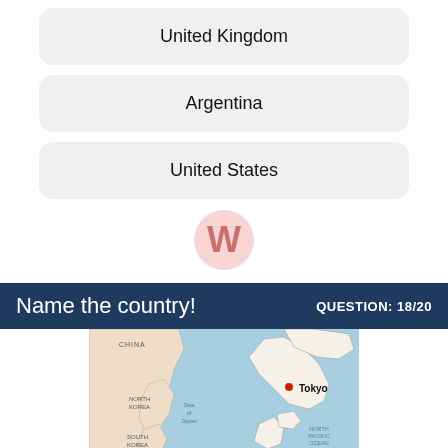United Kingdom
Argentina
United States
[Figure (logo): Circular pink logo with a white W shape inside]
Name the country!   QUESTION: 18/20
[Figure (map): Map showing Japan with Tokyo marked by a red dot, surrounded by China, North Korea, South Korea, Sea of Japan, and North Pacific Ocean labels]